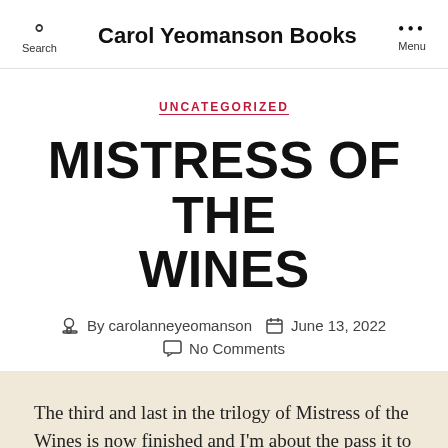Search | Carol Yeomanson Books | Menu
UNCATEGORIZED
MISTRESS OF THE WINES
By carolanneyeomanson   June 13, 2022
No Comments
The third and last in the trilogy of Mistress of the Wines is now finished and I'm about the pass it to my Editor.